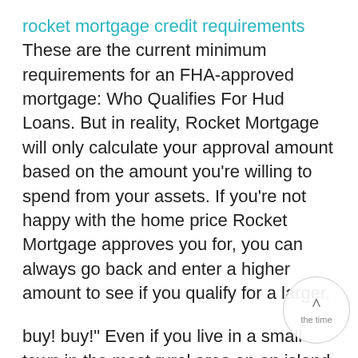rocket mortgage credit requirements These are the current minimum requirements for an FHA-approved mortgage: Who Qualifies For Hud Loans. But in reality, Rocket Mortgage will only calculate your approval amount based on the amount you're willing to spend from your assets. If you're not happy with the home price Rocket Mortgage approves you for, you can always go back and enter a higher amount to see if you qualify for a larger.
buy! buy!" Even if you live in a small town in the most rural area on an island in the middle of a large lake, you can still.
If you are unsure where your credit currently stands, and are serious about buying a home, now is the time to find out. You can do this by viewing two of your free